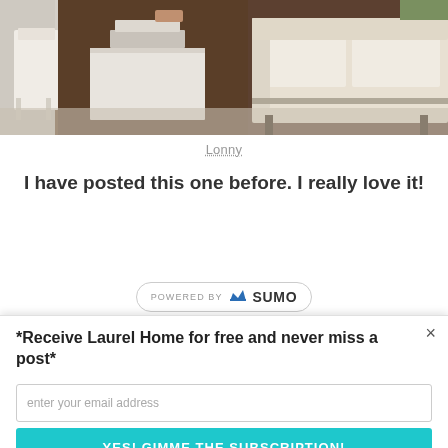[Figure (photo): Interior living room photo showing a white sofa with nailhead trim on the right, a white side table with stacked books/boxes in the center-left, and a white decorative chair partially visible on the far left. Dark hardwood floors and light walls visible.]
Lonny
I have posted this one before. I really love it!
[Figure (logo): Powered by Sumo pill badge with crown icon]
*Receive Laurel Home for free and never miss a post*
enter your email address
YES! GIMME THE SUBSCRIPTION!